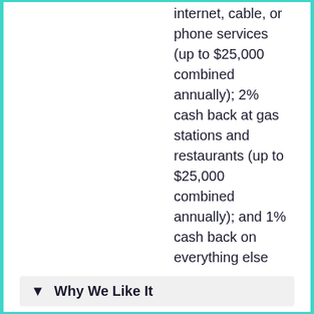internet, cable, or phone services (up to $25,000 combined annually); 2% cash back at gas stations and restaurants (up to $25,000 combined annually); and 1% cash back on everything else
Why We Like It
If you’re a freelancer, independent contractor, or small business owner in need of a business credit card that offers valuable rewards, consider the Ink Business Cash® Credit Card. It has no annual fee, a valuable sign-up bonus for new cardmembers, and rewards for common business purchases.
You don’t even need an Employer Identification Number (EIN) to apply; sole proprietors and people who run side